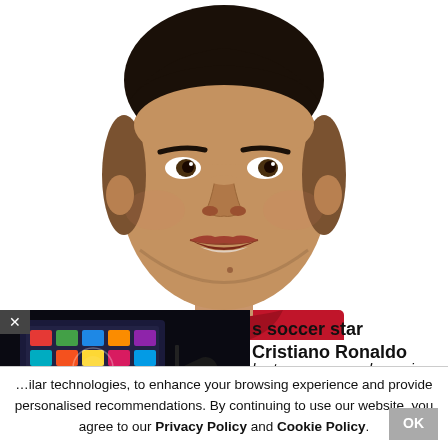[Figure (photo): Close-up portrait photo of soccer star Cristiano Ronaldo wearing a red jersey, looking forward with mouth slightly open, white background]
[Figure (photo): Advertisement overlay showing a hand holding a TV remote control pointed at a colorful TV screen displaying a grid of app icons in a dark room]
s soccer star Cristiano Ronaldo
he temporary seal remain,
nilar technologies, to enhance your browsing experience and provide personalised recommendations. By continuing to use our website, you agree to our Privacy Policy and Cookie Policy.